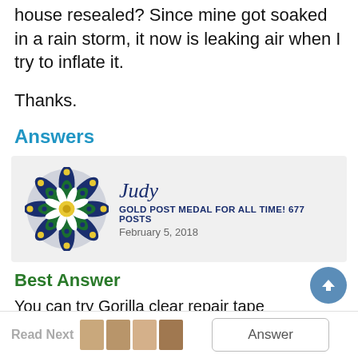house resealed? Since mine got soaked in a rain storm, it now is leaking air when I try to inflate it.
Thanks.
Answers
[Figure (illustration): User avatar: decorative mandala/medallion in blue, green, and yellow]
Judy
Gold Post Medal for All Time! 677 Posts
February 5, 2018
Best Answer
You can try Gorilla clear repair tape
Reply   Yes   [flag]
Read Next   Answer